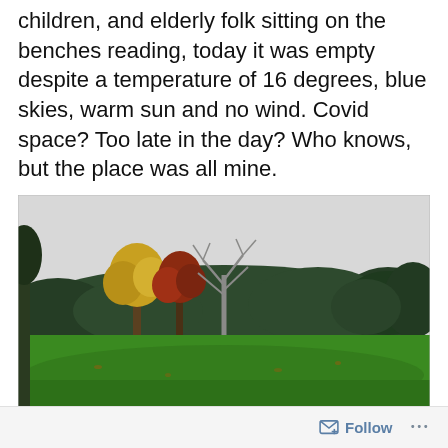Normally a place full of dog-trainers, chattering children, and elderly folk sitting on the benches reading, today it was empty despite a temperature of 16 degrees, blue skies, warm sun and no wind. Covid space? Too late in the day? Who knows, but the place was all mine.
[Figure (photo): Autumn park scene with green lawn in foreground, trees with autumn foliage (yellow, red, green) in middle ground, and overcast grey-white sky. A bare silver birch stands in the centre.]
Follow ...